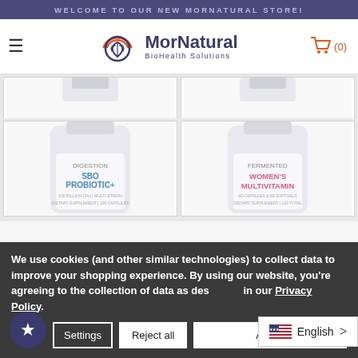WELCOME TO OUR NEW MORNATURAL STORE!
[Figure (logo): MorNatural BioHealth Solutions logo with circular leaf/sun emblem in orange and navy blue]
[Figure (illustration): Shopping cart icon in orange with (0) items indicator]
[Figure (photo): Partial top portion of two product cards (cut off) - white supplement bottles]
[Figure (photo): Two white supplement bottles: left shows 'DIGESTION SBO PROBIOTIC+', right shows 'FERMENTED WOMEN'S MULTIVITAMIN']
We use cookies (and other similar technologies) to collect data to improve your shopping experience. By using our website, you're agreeing to the collection of data as described in our Privacy Policy.
Settings
Reject all
Accept
English